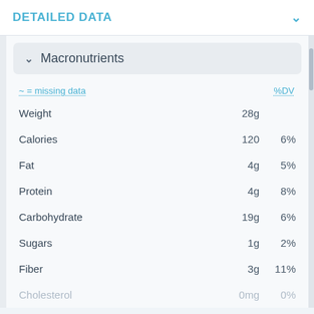DETAILED DATA
Macronutrients
~ = missing data   %DV
|  | Amount | %DV |
| --- | --- | --- |
| Weight | 28g |  |
| Calories | 120 | 6% |
| Fat | 4g | 5% |
| Protein | 4g | 8% |
| Carbohydrate | 19g | 6% |
| Sugars | 1g | 2% |
| Fiber | 3g | 11% |
| Cholesterol | 0mg | 0% |